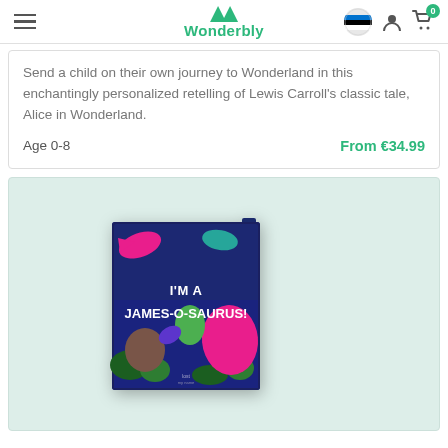Wonderbly
Send a child on their own journey to Wonderland in this enchantingly personalized retelling of Lewis Carroll's classic tale, Alice in Wonderland.
Age 0-8 | From €34.99
[Figure (photo): Book cover of 'I'm a James-O-Saurus!' personalized children's book showing colorful cartoon dinosaurs on a dark navy background with bold white text.]